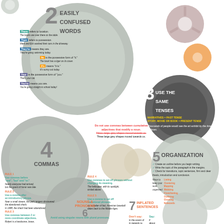[Figure (infographic): Educational infographic about writing rules with gear imagery. Contains 7 sections: 2-Easily Confused Words, 3-Use the Same Tenses, 4-Commas, 5-Organization, 6-Nouns & Pronouns, 7-Inflated Sentences. Each section uses gear-shaped backgrounds with rules and examples.]
2 EASILY CONFUSED WORDS
There refers to location. The books are over there on the table. Their refers to possession. Mark and Eric washed their cars in the driveway. They're means they are. They're going swimming today. Its is the possessive form of 'it.' The book has a tiger on its cover. It's means 'it is.' It's sunny out today. Your is the possessive form of 'you.' That's your cat. You're means you are. You're going straight to school today!
3 USE THE SAME TENSES
NARRATIVES = Past tense. STORY, MOVIE or BOOK = Present tense. Thousands of people would see the art exhibit by the time it closes.
4 COMMAS
Do not use commas between cumulative adjectives that modify a noun. Three, large, grey shapes moved towards us. Three large grey shapes moved towards us.
RULE 1 Use commas before 'and', 'but' and 'or.' Nearly everyone had arrived, but the guest of honor was late. RULE 2 Use a comma after an introductory phrase. Near a small stream, the park rangers discovered the abandoned shack. In 1988, the shack had been abandoned. RULE 3 Use commas between 2 or more coordinate adjectives. Robert is a handsome, brave, and generous man.
RULE 4 Use commas to set off phrases without changing its meaning. The helicopter, with its spotlight, circled above. RULE 5 Use a comma to set off transitional phrases. As a matter of fact, American baseball dates back to the Middle Ages.
5 ORGANIZATION
Create an outline before you begin writing. Write the topic of the paragraph in the margins. Check for transitions, topic sentences, firm and clear thesis, introduction and conclusion. Ways to keep your work organized: Listing, Clustering, Mapping, Webbing, Flowcharting, Outlining, Glossing, Notecards
6 NOUNS & PRONOUNS
Avoid using singular nouns with plural pronouns.
7 INFLATED SENTENCES
Don't say: in the event of, in regards to. Say: if, about